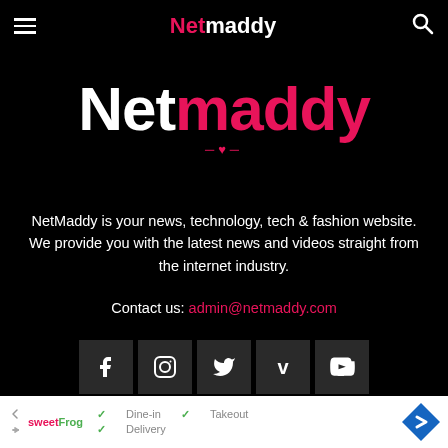Netmaddy
[Figure (logo): Netmaddy logo in large text, white 'Net' and pink 'maddy' with decorative heart divider below]
NetMaddy is your news, technology, tech & fashion website. We provide you with the latest news and videos straight from the internet industry.
Contact us: admin@netmaddy.com
[Figure (other): Social media icon buttons: Facebook, Instagram, Twitter, Vimeo, YouTube]
ILAR POSTS
[Figure (other): Advertisement banner with sweetFrog logo, Dine-in, Takeout, Delivery checkmarks, and navigation arrow]